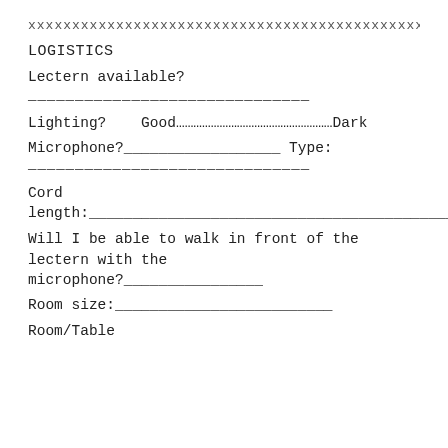xxxxxxxxxxxxxxxxxxxxxxxxxxxxxxxxxxxxxxxxxxxxxxxxxxxxxxxxx
LOGISTICS
Lectern available?
——————————————————————————————
Lighting?    Good………………………………………………Dark
Microphone?__________________ Type:
——————————————————————————————
Cord length:_______________________________________________
Will I be able to walk in front of the lectern with the microphone?________________
Room size:_________________________
Room/Table